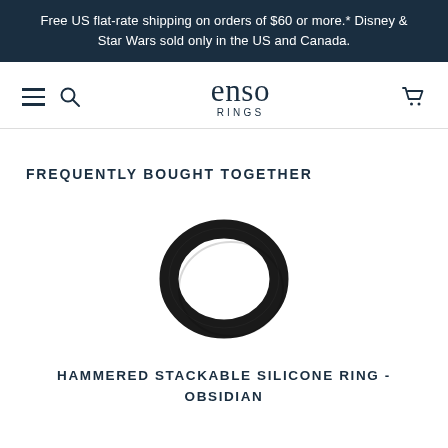Free US flat-rate shipping on orders of $60 or more.* Disney & Star Wars sold only in the US and Canada.
[Figure (logo): Enso Rings logo with hamburger menu, search icon, and cart icon navigation]
FREQUENTLY BOUGHT TOGETHER
[Figure (photo): Black hammered stackable silicone ring (Obsidian) viewed at a slight angle, showing the ring's flat profile and hammered texture]
HAMMERED STACKABLE SILICONE RING - OBSIDIAN